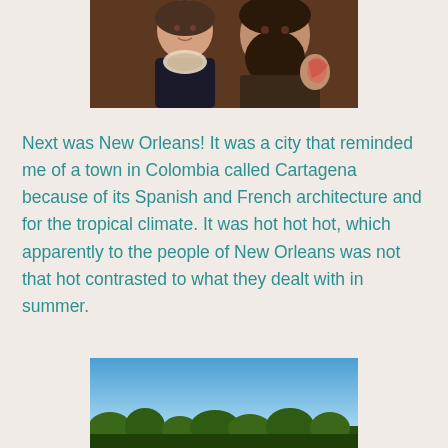[Figure (photo): Cropped photo of two people, a woman with a scarf/necklace and a man with a beard and tattoo on his arm, photographed indoors]
Next was New Orleans!  It was a city that reminded me of a town in Colombia called Cartagena because of its Spanish and French architecture and for the tropical climate. It was hot hot hot, which apparently to the people of New Orleans was not that hot contrasted to what they dealt with in summer.
[Figure (photo): Photo of a blue sky with trees visible at the bottom edge, appearing to be taken outdoors in New Orleans]